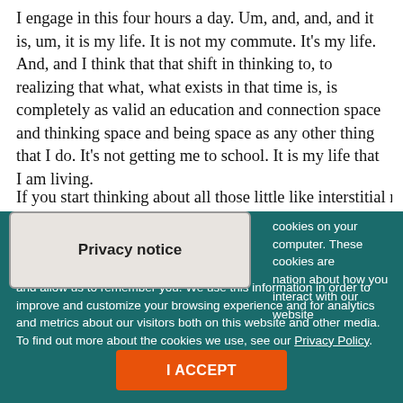I engage in this four hours a day. Um, and, and, and it is, um, it is my life. It is not my commute. It's my life. And, and I think that that shift in thinking to, to realizing that what, what exists in that time is, is completely as valid an education and connection space and thinking space and being space as any other thing that I do. It's not getting me to school. It is my life that I am living.
If you start thinking about all those little like interstitial moments
Privacy notice
cookies on your computer. These cookies are nation about how you interact with our website and allow us to remember you. We use this information in order to improve and customize your browsing experience and for analytics and metrics about our visitors both on this website and other media. To find out more about the cookies we use, see our Privacy Policy.
I ACCEPT